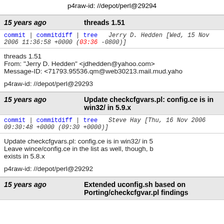p4raw-id: //depot/perl@29294
15 years ago   threads 1.51
commit | commitdiff | tree   Jerry D. Hedden [Wed, 15 Nov 2006 11:36:58 +0000 (03:36 -0800)]
threads 1.51
From: "Jerry D. Hedden" <jdhedden@yahoo.com>
Message-ID: <71793.95536.qm@web30213.mail.mud.yaho

p4raw-id: //depot/perl@29293
15 years ago   Update checkcfgvars.pl: config.ce is in win32/ in 5.9.x
commit | commitdiff | tree   Steve Hay [Thu, 16 Nov 2006 09:30:48 +0000 (09:30 +0000)]
Update checkcfgvars.pl: config.ce is in win32/ in 5
Leave wince/config.ce in the list as well, though, b
exists in 5.8.x

p4raw-id: //depot/perl@29292
15 years ago   Extended uconfig.sh based on Porting/checkcfgvar.pl findings